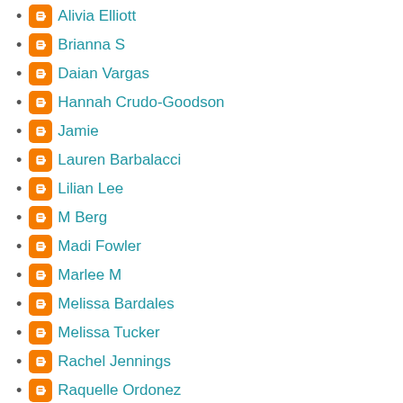Alivia Elliott
Brianna S
Daian Vargas
Hannah Crudo-Goodson
Jamie
Lauren Barbalacci
Lilian Lee
M Berg
Madi Fowler
Marlee M
Melissa Bardales
Melissa Tucker
Rachel Jennings
Raquelle Ordonez
Vincent Pecoreno
julie miller